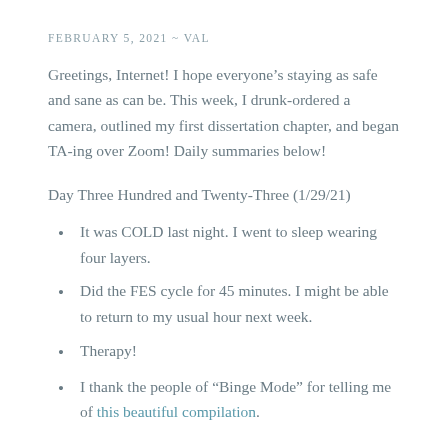FEBRUARY 5, 2021 ~ VAL
Greetings, Internet! I hope everyone's staying as safe and sane as can be. This week, I drunk-ordered a camera, outlined my first dissertation chapter, and began TA-ing over Zoom! Daily summaries below!
Day Three Hundred and Twenty-Three (1/29/21)
It was COLD last night. I went to sleep wearing four layers.
Did the FES cycle for 45 minutes. I might be able to return to my usual hour next week.
Therapy!
I thank the people of "Binge Mode" for telling me of this beautiful compilation.